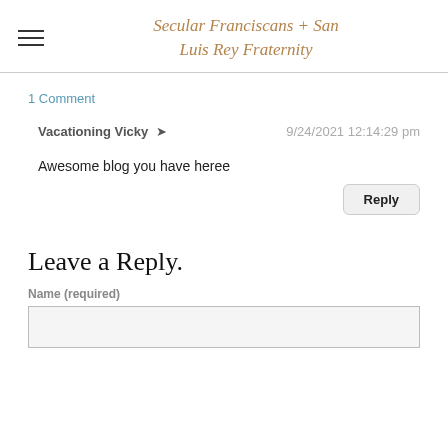Secular Franciscans + San Luis Rey Fraternity
1 Comment
Vacationing Vicky   9/24/2021 12:14:29 pm
Awesome blog you have heree
Reply
Leave a Reply.
Name (required)